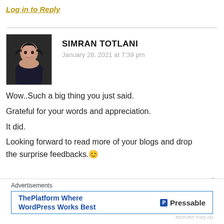Log in to Reply
SIMRAN TOTLANI
January 28, 2021 at 7:39 pm
Wow..Such a big thing you just said.
Grateful for your words and appreciation.
It did.
Looking forward to read more of your blogs and drop the surprise feedbacks.😊
★ Liked by 1 person
Advertisements
ThePlatform Where WordPress Works Best   P Pressable